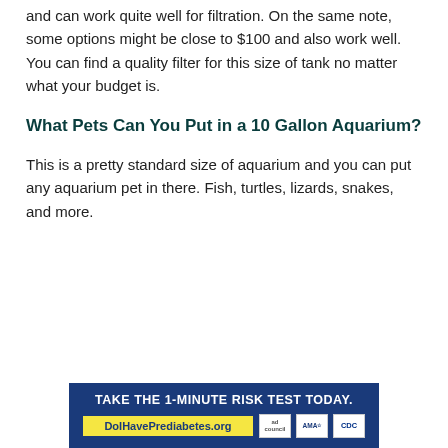and can work quite well for filtration. On the same note, some options might be close to $100 and also work well. You can find a quality filter for this size of tank no matter what your budget is.
What Pets Can You Put in a 10 Gallon Aquarium?
This is a pretty standard size of aquarium and you can put any aquarium pet in there. Fish, turtles, lizards, snakes, and more.
[Figure (infographic): Advertisement banner for DoIHavePrediabetes.org with text 'TAKE THE 1-MINUTE RISK TEST TODAY.' on a dark blue background, a yellow URL box, and logos for ad council, AMA, and CDC.]